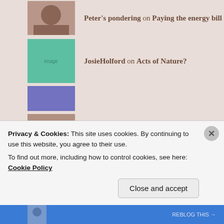Peter's pondering on Paying the energy bill
JosieHolford on Acts of Nature?
Peter's pondering on Acts of Nature?
Sustain | sustain-bl... on Acts of Nature?
ARCHIVES
August 2022
Privacy & Cookies: This site uses cookies. By continuing to use this website, you agree to their use.
To find out more, including how to control cookies, see here: Cookie Policy
Close and accept